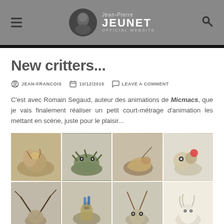Jean-Pierre JEUNET OFFICIAL WEBSITE
New critters...
JEAN-FRANCOIS   10/12/2015   LEAVE A COMMENT
C'est avec Romain Segaud, auteur des animations de Micmacs, que je vais finalement réaliser un petit court-métrage d'animation les mettant en scène, juste pour le plaisir...
[Figure (photo): Grid of 8 small animal figurine sculptures made from natural materials like seeds, shells, and dried plants, arranged in 2 rows of 4.]